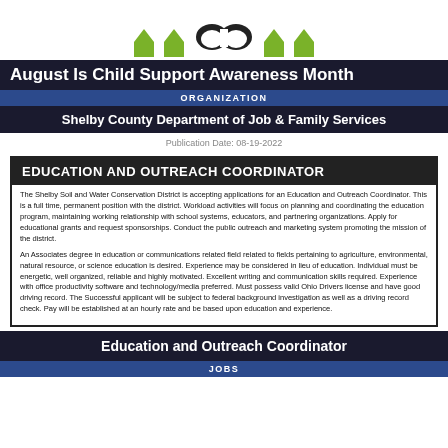[Figure (logo): Logo with green house shapes and black heart/mustache icon on white background]
August Is Child Support Awareness Month
ORGANIZATION
Shelby County Department of Job & Family Services
Publication Date: 08-19-2022
EDUCATION AND OUTREACH COORDINATOR
The Shelby Soil and Water Conservation District is accepting applications for an Education and Outreach Coordinator. This is a full time, permanent position with the district. Workload activities will focus on planning and coordinating the education program, maintaining working relationship with school systems, educators, and partnering organizations. Apply for educational grants and request sponsorships. Conduct the public outreach and marketing system promoting the mission of the district.
An Associates degree in education or communications related field related to fields pertaining to agriculture, environmental, natural resource, or science education is desired. Experience may be considered in lieu of education. Individual must be energetic, well organized, reliable and highly motivated. Excellent writing and communication skills required. Experience with office productivity software and technology/media preferred. Must possess valid Ohio Drivers license and have good driving record. The Successful applicant will be subject to federal background investigation as well as a driving record check. Pay will be established at an hourly rate and be based upon education and experience.
Education and Outreach Coordinator
JOBS